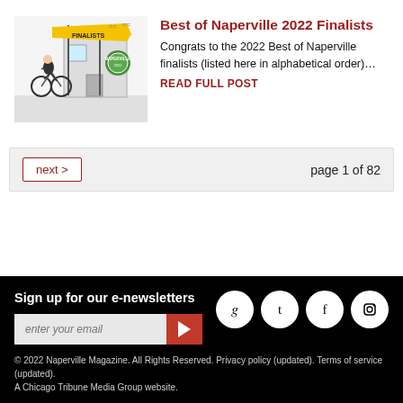[Figure (illustration): Illustration of a cyclist riding past a store with 'Finalists' banner and Naperville seal]
Best of Naperville 2022 Finalists
Congrats to the 2022 Best of Naperville finalists (listed here in alphabetical order)…
READ FULL POST
next >
page 1 of 82
Sign up for our e-newsletters
[Figure (infographic): Social media icons: Pinterest, Twitter, Facebook, Instagram]
© 2022 Naperville Magazine. All Rights Reserved. Privacy policy (updated). Terms of service (updated). A Chicago Tribune Media Group website.